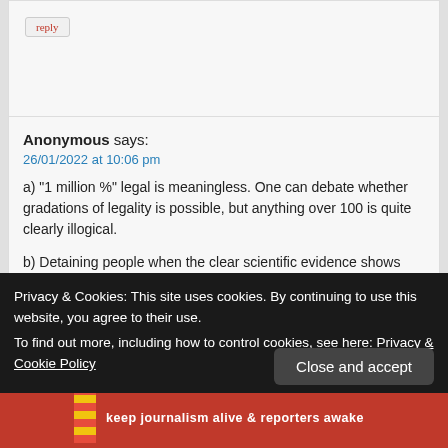reply
Anonymous says:
26/01/2022 at 10:06 pm
a) “1 million %” legal is meaningless. One can debate whether gradations of legality is possible, but anything over 100 is quite clearly illogical.
b) Detaining people when the clear scientific evidence shows they are not infectious and pose no risk to the wider population is irrational and likely to be unlawful. Detaining people simply because the authorities refuse to follow the clear scientific evidence and are incapable (due to incompetence) of providing timely test results is
Privacy & Cookies: This site uses cookies. By continuing to use this website, you agree to their use.
To find out more, including how to control cookies, see here: Privacy & Cookie Policy
Close and accept
Keep journalism alive & reporters awake